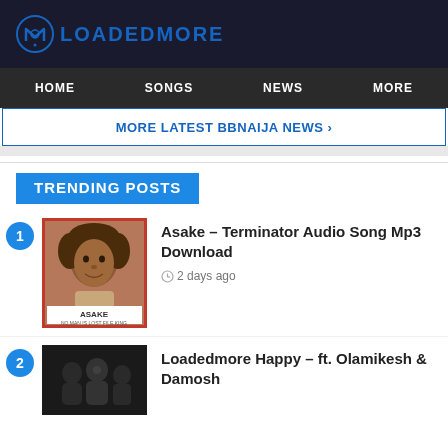LOADEDMORE
HOME | SONGS | NEWS | MORE
MORE LATEST BBNAIJA NEWS >
TRENDING POSTS
[Figure (photo): Asake album cover with mugshot-style photo, red border, labeled ASAKE]
Asake – Terminator Audio Song Mp3 Download
2 days ago
[Figure (photo): Dark photo of people, Loadedmore Happy ft. Olamikesh & Damosh]
Loadedmore Happy – ft. Olamikesh & Damosh